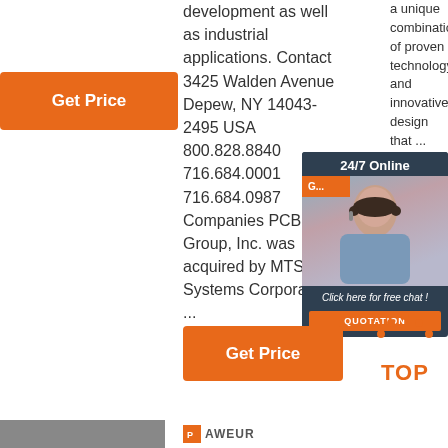development as well as industrial applications. Contact 3425 Walden Avenue Depew, NY 14043-2495 USA 800.828.8840 716.684.0001 716.684.0987 Companies PCB Group, Inc. was acquired by MTS Systems Corporation ...
a unique combination of proven technology and innovative design that ...
[Figure (photo): Customer service representative with headset, 24/7 Online chat widget with QUOTATION button]
Get Price
Get Price
[Figure (illustration): TOP button icon with orange dots above text]
[Figure (logo): Company logo at bottom]